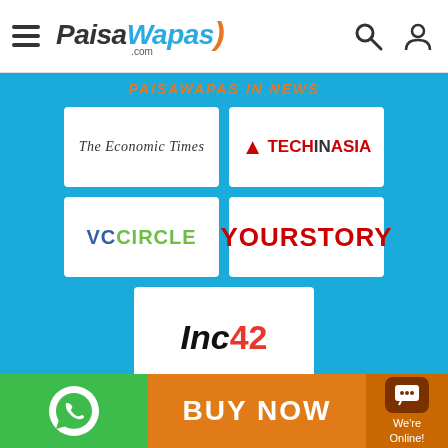PaisaWapas.com
PAISAWAPAS IN NEWS
[Figure (logo): The Economic Times logo]
[Figure (logo): TechInAsia logo]
[Figure (logo): VCCircle logo]
[Figure (logo): YourStory logo]
[Figure (logo): Inc42 logo]
Trending Stores
[Figure (logo): Amazon.in logo]
[Figure (logo): Myntra logo]
[Figure (logo): WhatsApp icon green bar]
BUY NOW
We're Online!